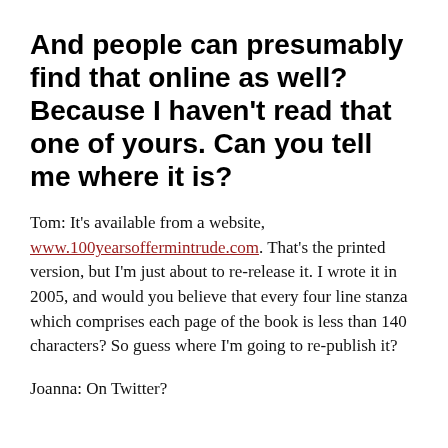And people can presumably find that online as well? Because I haven't read that one of yours. Can you tell me where it is?
Tom: It's available from a website, www.100yearsoffermintrude.com. That's the printed version, but I'm just about to re-release it. I wrote it in 2005, and would you believe that every four line stanza which comprises each page of the book is less than 140 characters? So guess where I'm going to re-publish it?
Joanna: On Twitter?